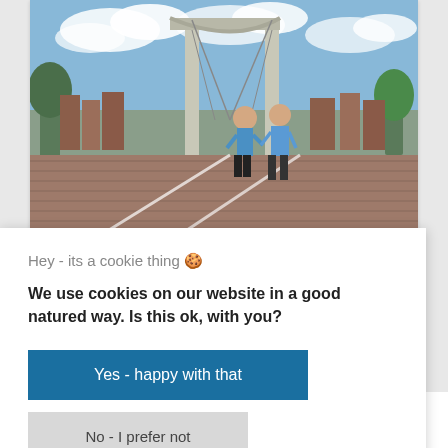[Figure (photo): Two people in blue shirts running across a bridge in Amsterdam. A large metal drawbridge gate is visible in the background along with historic Dutch canal houses and trees.]
Hey - its a cookie thing 🍪
We use cookies on our website in a good natured way. Is this ok, with you?
Yes - happy with that
No - I prefer not
Corporate tour